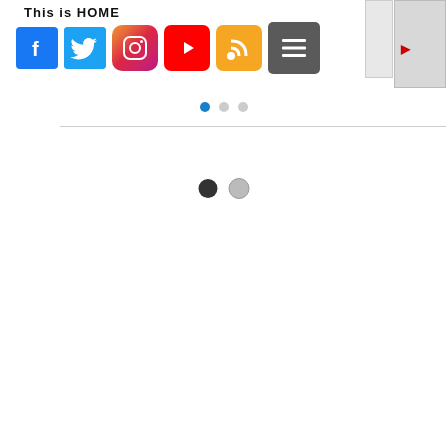This is HOME
[Figure (screenshot): Social media icon bar with Facebook, Twitter, Instagram, YouTube, RSS, and hamburger menu icons. Partially visible image panels on the right edge.]
[Figure (other): Carousel pagination indicator dots: three small circles (blue, gray, gray)]
[Figure (other): Carousel pagination indicator dots: two circles (dark/active, light/inactive)]